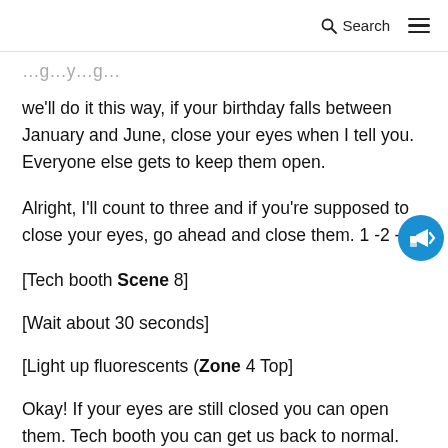Search
we'll do it this way, if your birthday falls between January and June, close your eyes when I tell you. Everyone else gets to keep them open.
Alright, I'll count to three and if you're supposed to close your eyes, go ahead and close them. 1 -2 -
[Tech booth Scene 8]
[Wait about 30 seconds]
[Light up fluorescents (Zone 4 Top]
Okay! If your eyes are still closed you can open them. Tech booth you can get us back to normal.